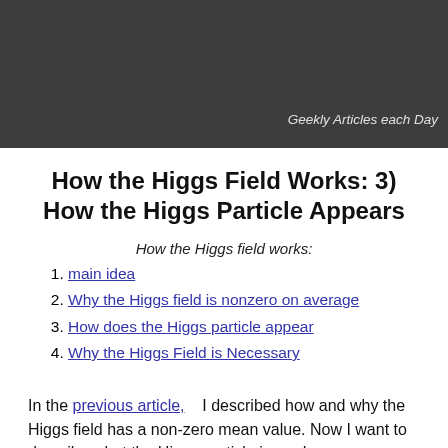Geekly Articles each Day
How the Higgs Field Works: 3) How the Higgs Particle Appears
How the Higgs field works:
main idea
Why the Higgs field is nonzero on average
How does the Higgs particle appear
Why the Higgs Field is Necessary
In the previous article,   I described how and why the Higgs field has a non-zero mean value. Now I want to describe what the Higgs particle is, and